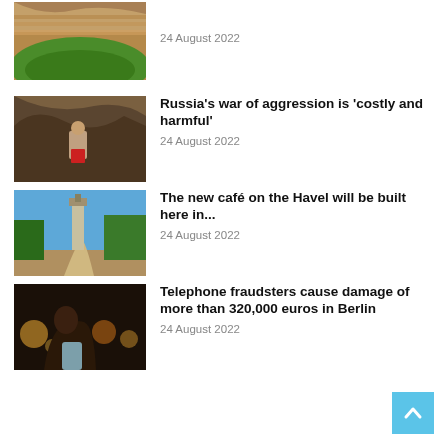[Figure (photo): Stadium aerial view with green field and stands]
24 August 2022
[Figure (photo): Person in cave or rocky landscape with red shorts]
Russia's war of aggression is 'costly and harmful'
24 August 2022
[Figure (photo): Park path with tower and blue sky]
The new café on the Havel will be built here in...
24 August 2022
[Figure (photo): Woman using phone at night with bokeh lights]
Telephone fraudsters cause damage of more than 320,000 euros in Berlin
24 August 2022